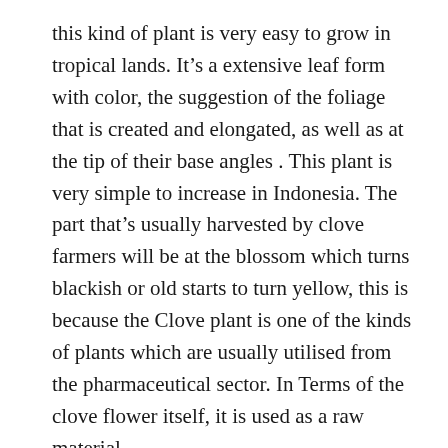this kind of plant is very easy to grow in tropical lands. It's a extensive leaf form with color, the suggestion of the foliage that is created and elongated, as well as at the tip of their base angles . This plant is very simple to increase in Indonesia. The part that's usually harvested by clove farmers will be at the blossom which turns blackish or old starts to turn yellow, this is because the Clove plant is one of the kinds of plants which are usually utilised from the pharmaceutical sector. In Terms of the clove flower itself, it is used as a raw material.